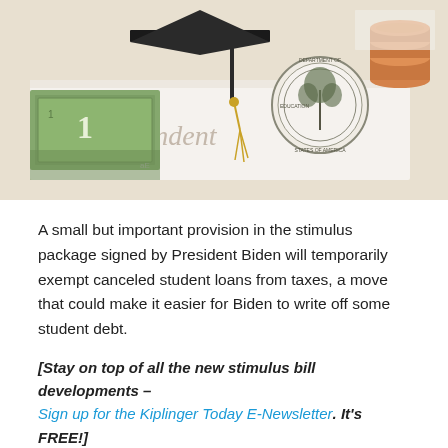[Figure (photo): Photo showing a graduation cap with gold tassel, US dollar bills, Department of Education seal stamp, and stacked pennies on a white background — related to student loans and education finance.]
A small but important provision in the stimulus package signed by President Biden will temporarily exempt canceled student loans from taxes, a move that could make it easier for Biden to write off some student debt.
[Stay on top of all the new stimulus bill developments – Sign up for the Kiplinger Today E-Newsletter. It's FREE!]
Student Loan Forgiveness Won't Increase Your Tax Bill